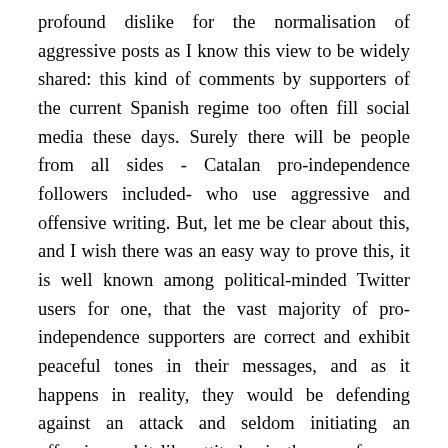profound dislike for the normalisation of aggressive posts as I know this view to be widely shared: this kind of comments by supporters of the current Spanish regime too often fill social media these days. Surely there will be people from all sides - Catalan pro-independence followers included- who use aggressive and offensive writing. But, let me be clear about this, and I wish there was an easy way to prove this, it is well known among political-minded Twitter users for one, that the vast majority of pro-independence supporters are correct and exhibit peaceful tones in their messages, and as it happens in reality, they would be defending against an attack and seldom initiating an offensive; a bit like attitudes in the now famous and exemplary peaceful grassroots rallies in the streets of Catalonia. Yet, it